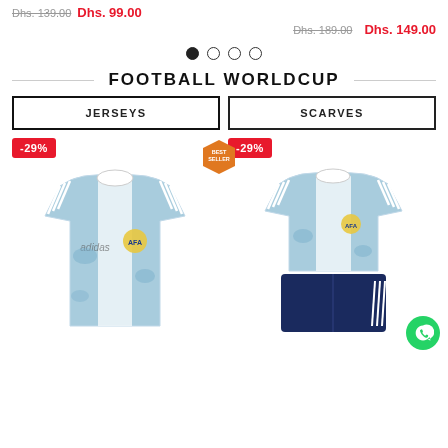Dhs. 139.00  Dhs. 99.00
Dhs. 189.00  Dhs. 149.00
[Figure (other): Carousel pagination dots: one filled (active), three empty]
FOOTBALL WORLDCUP
JERSEYS  |  SCARVES (tab navigation)
[Figure (photo): Argentina football jersey (light blue and white) with -29% discount badge and BEST SELLER badge]
[Figure (photo): Argentina football jersey and shorts set (light blue/white jersey + navy shorts) with -29% discount badge and WhatsApp contact button]